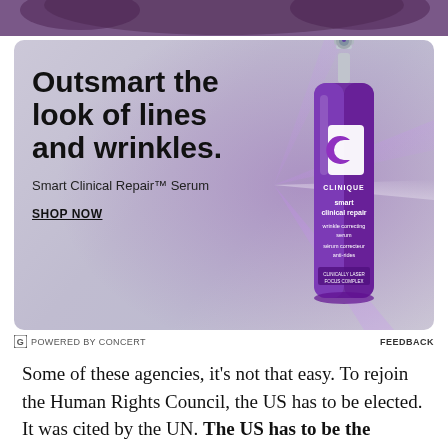[Figure (photo): Top strip showing a person's face/hair, purple-toned background]
[Figure (illustration): Clinique Smart Clinical Repair Serum advertisement. Large bold headline: 'Outsmart the look of lines and wrinkles.' Subtext: 'Smart Clinical Repair™ Serum'. Call-to-action: 'SHOP NOW'. Product bottle (purple, Clinique branded) on the right side with light beam effects.]
G POWERED BY CONCERT                                                    FEEDBACK
Some of these agencies, it's not that easy. To rejoin the Human Rights Council, the US has to be elected. It was cited by the UN. The US has to be the...